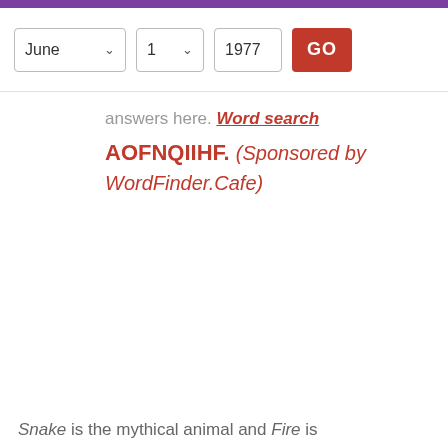[Figure (screenshot): Navigation bar with date selectors: June (dropdown), 1 (dropdown), 1977 (text input), and a red GO button]
answers here. Word search AOFNQIIHF. (Sponsored by WordFinder.Cafe)
Snake is the mythical animal and Fire is